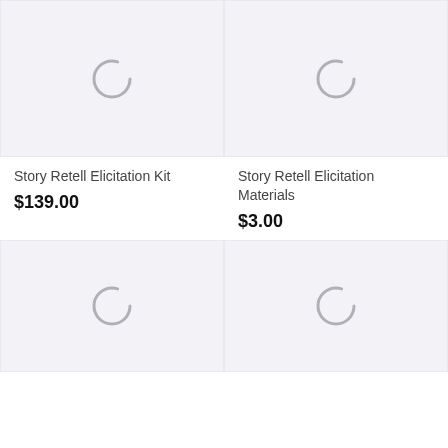[Figure (screenshot): Loading spinner placeholder for product image - top left]
[Figure (screenshot): Loading spinner placeholder for product image - top right]
Story Retell Elicitation Kit
$139.00
Story Retell Elicitation Materials
$3.00
[Figure (screenshot): Loading spinner placeholder for product image - bottom left]
[Figure (screenshot): Loading spinner placeholder for product image - bottom right]